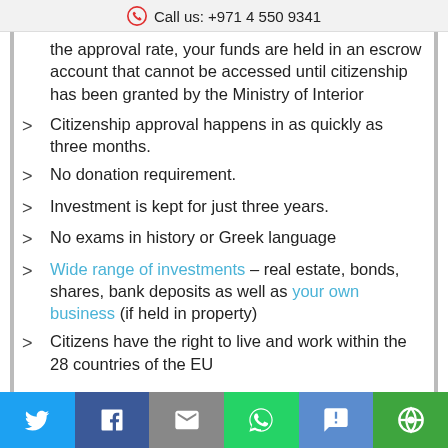Call us: +971 4 550 9341
the approval rate, your funds are held in an escrow account that cannot be accessed until citizenship has been granted by the Ministry of Interior
Citizenship approval happens in as quickly as three months.
No donation requirement.
Investment is kept for just three years.
No exams in history or Greek language
Wide range of investments – real estate, bonds, shares, bank deposits as well as your own business (if held in property)
Citizens have the right to live and work within the 28 countries of the EU